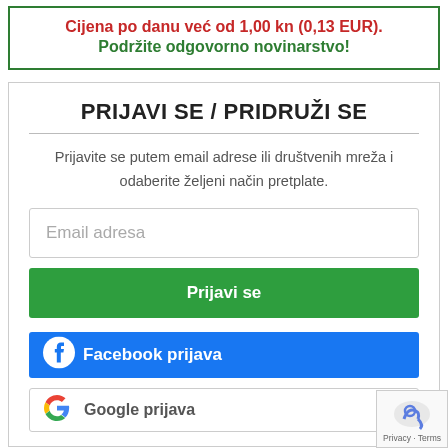Cijena po danu već od 1,00 kn (0,13 EUR). Podržite odgovorno novinarstvo!
PRIJAVI SE / PRIDRUŽI SE
Prijavite se putem email adrese ili društvenih mreža i odaberite željeni način pretplate.
[Figure (screenshot): Email address input field with placeholder text 'Email adresa']
[Figure (screenshot): Green 'Prijavi se' button]
[Figure (screenshot): Blue Facebook login button with Facebook icon and text 'Facebook prijava']
[Figure (screenshot): White Google login button with Google G icon and text 'Google prijava']